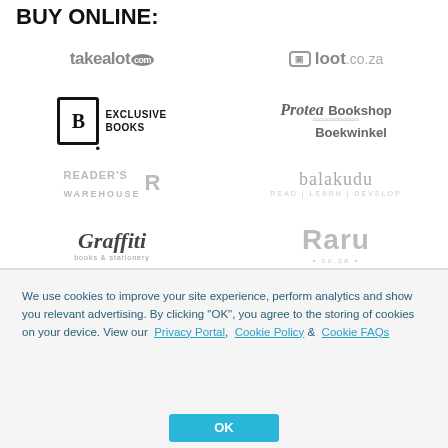BUY ONLINE:
[Figure (logo): takealot.com logo in grey]
[Figure (logo): loot.co.za logo in grey]
[Figure (logo): Exclusive Books logo in black and grey]
[Figure (logo): Protea Bookshop Boekwinkel logo in grey]
[Figure (logo): Reader's Warehouse logo in light grey]
[Figure (logo): balakudu read learn develop logo in grey]
[Figure (logo): Graffiti books and stationery logo in dark grey]
[Figure (logo): Raru.co.za logo in light grey]
We use cookies to improve your site experience, perform analytics and show you relevant advertising. By clicking "OK", you agree to the storing of cookies on your device. View our  Privacy Portal,  Cookie Policy &  Cookie FAQs